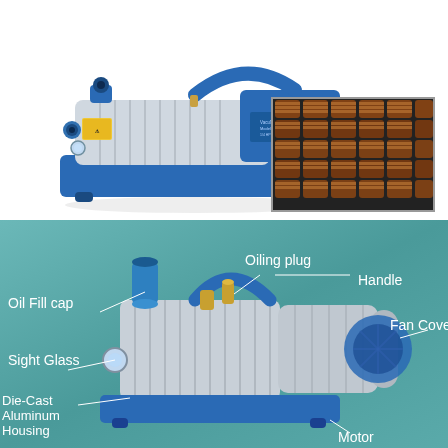[Figure (photo): Top section: photograph of a blue and silver vacuum pump on white background, with an inset close-up photo of copper motor windings/coils in the upper right corner.]
[Figure (engineering-diagram): Bottom section: labeled diagram of vacuum pump components on teal/blue-green background. Labels identify: Oil Fill cap (upper left), Oiling plug (upper center), Handle (upper right), Sight Glass (left), Fan Cover (right), Die-Cast Aluminum Housing (lower left), Motor (lower right).]